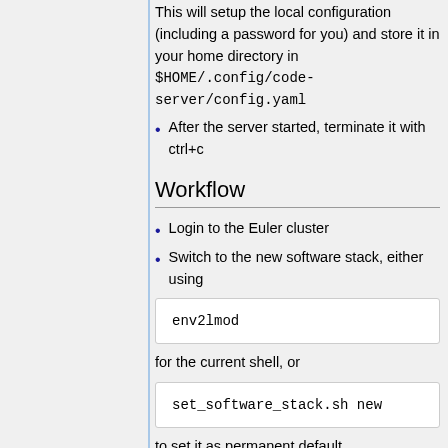This will setup the local configuration (including a password for you) and store it in your home directory in $HOME/.config/code-server/config.yaml
After the server started, terminate it with ctrl+c
Workflow
Login to the Euler cluster
Switch to the new software stack, either using
env2lmod
for the current shell, or
set_software_stack.sh new
to set it as permanent default